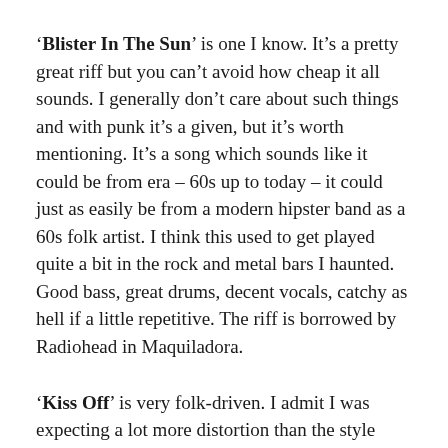'Blister In The Sun' is one I know. It's a pretty great riff but you can't avoid how cheap it all sounds. I generally don't care about such things and with punk it's a given, but it's worth mentioning. It's a song which sounds like it could be from era – 60s up to today – it could just as easily be from a modern hipster band as a 60s folk artist. I think this used to get played quite a bit in the rock and metal bars I haunted. Good bass, great drums, decent vocals, catchy as hell if a little repetitive. The riff is borrowed by Radiohead in Maquiladora.
'Kiss Off' is very folk-driven. I admit I was expecting a lot more distortion than the style we've had so far. I love the bedroom production tone and feel – it reminds me of stuff I would record, not musically, and gives me hope for future artists. Although timing seems to be developed, I...